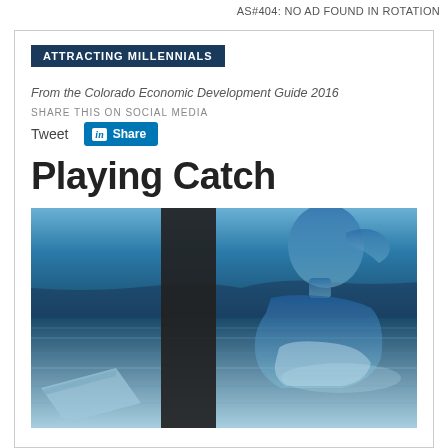AS#404: NO AD FOUND IN ROTATION
ATTRACTING MILLENNIALS
From the Colorado Economic Development Guide 2016
SHARE THIS ON SOCIAL MEDIA
Tweet
Share
Playing Catch
[Figure (photo): Double-exposure composite photo showing a woman in profile looking downward, overlaid with a tranquil water/lake scene with blue tones, and a laptop or book in the lower left. A dark vertical bar appears in the center-left area.]